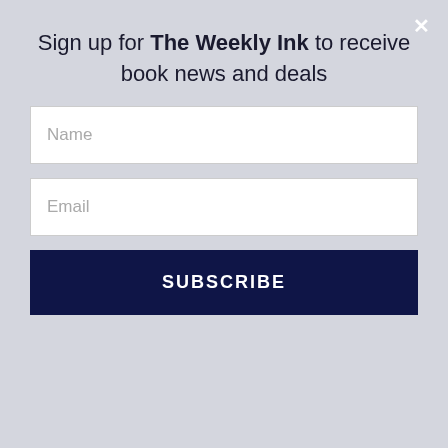Sign up for The Weekly Ink to receive book news and deals
Name
Email
SUBSCRIBE
Excerpt
The Geekery Book Review – http://thegeekerybookreview.blogspot.com – Character Post
Keep Calm & Read Romance – http://keepcalmandreadromance.blogspot.com – Guest Post
2 Girls Book: An Asian & White Chick Walk into a